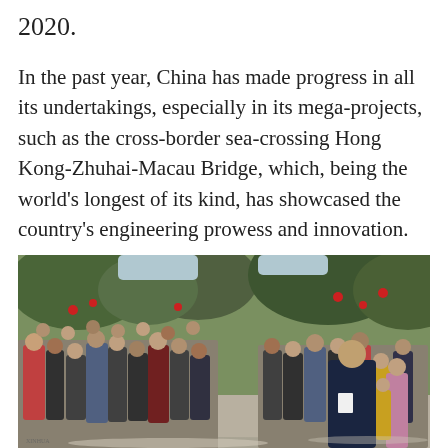2020.
In the past year, China has made progress in all its undertakings, especially in its mega-projects, such as the cross-border sea-crossing Hong Kong-Zhuhai-Macau Bridge, which, being the world's longest of its kind, has showcased the country's engineering prowess and innovation.
[Figure (photo): A large outdoor crowd of people gathered in what appears to be a park or courtyard with trees decorated with red lanterns. A prominent figure in a dark navy jacket stands at the front-right addressing or greeting the crowd. Trees with red decorations are visible in the background.]